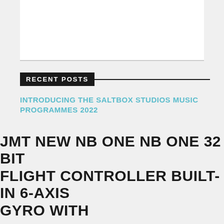RECENT POSTS
INTRODUCING THE SALTBOX STUDIOS MUSIC PROGRAMMES 2022
A Rhythm and Alps 2021-2022 Review
FLARE Ōtautahi Street Art Festival
MUSOC presents: 'At the Heart of Us'
Social Sport | In Vitro / Ex Vitro
JMT NEW NB ONE NB ONE 32 BIT FLIGHT CONTROLLER BUILT-IN 6-AXIS GYRO WITH